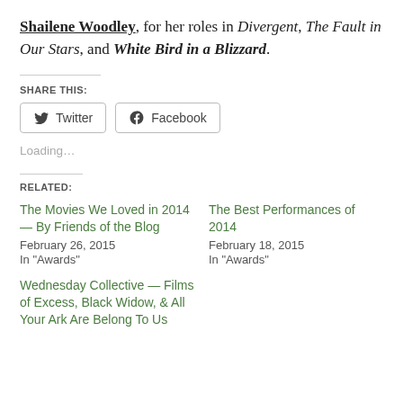Shailene Woodley, for her roles in Divergent, The Fault in Our Stars, and White Bird in a Blizzard.
SHARE THIS:
[Figure (other): Social share buttons for Twitter and Facebook]
Loading...
RELATED:
The Movies We Loved in 2014 — By Friends of the Blog
February 26, 2015
In "Awards"
The Best Performances of 2014
February 18, 2015
In "Awards"
Wednesday Collective — Films of Excess, Black Widow, & All Your Ark Are Belong To Us